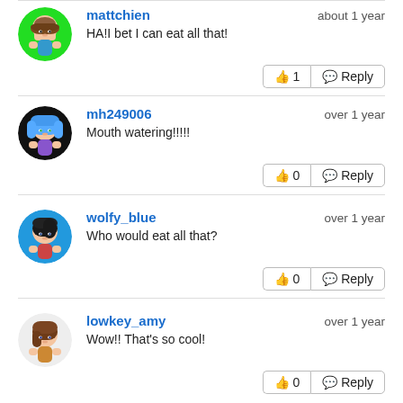mattchien — about 1 year
HA!I bet I can eat all that!
mh249006 — over 1 year
Mouth watering!!!!!
wolfy_blue — over 1 year
Who would eat all that?
lowkey_amy — over 1 year
Wow!! That's so cool!